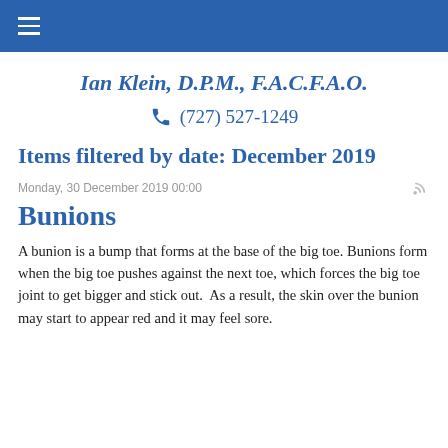≡
Ian Klein, D.P.M., F.A.C.F.A.O.
☎ (727) 527-1249
Items filtered by date: December 2019
Monday, 30 December 2019 00:00
Bunions
A bunion is a bump that forms at the base of the big toe. Bunions form when the big toe pushes against the next toe, which forces the big toe joint to get bigger and stick out.  As a result, the skin over the bunion may start to appear red and it may feel sore.